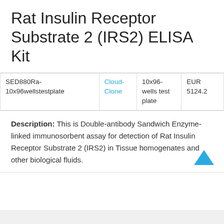Rat Insulin Receptor Substrate 2 (IRS2) ELISA Kit
|  | Brand | Size | Price |
| --- | --- | --- | --- |
| SED880Ra-10x96wellstestplate | Cloud-Clone | 10x96-wells test plate | EUR 5124.2 |
Description: This is Double-antibody Sandwich Enzyme-linked immunosorbent assay for detection of Rat Insulin Receptor Substrate 2 (IRS2) in Tissue homogenates and other biological fluids.